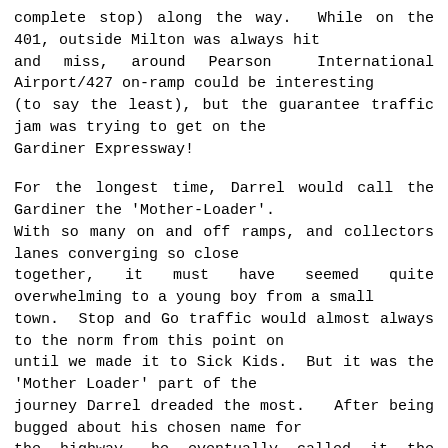complete stop) along the way.  While on the 401, outside Milton was always hit and miss, around Pearson  International Airport/427 on-ramp could be interesting (to say the least), but the guarantee traffic jam was trying to get on the Gardiner Expressway!

For the longest time, Darrel would call the Gardiner the 'Mother-Loader'. With so many on and off ramps, and collectors lanes converging so close together, it must have seemed quite overwhelming to a young boy from a small town.  Stop and Go traffic would almost always to the norm from this point on until we made it to Sick Kids.  But it was the 'Mother Loader' part of the journey Darrel dreaded the most.   After being bugged about his chosen name for the highway, he eventually called it the 'Gardener', but I could still get a